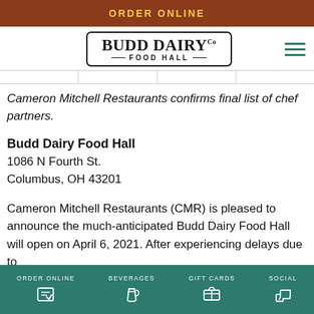ORDER ONLINE
[Figure (logo): Budd Dairy Co Food Hall logo inside a rounded rectangle border, with hamburger menu icon]
Cameron Mitchell Restaurants confirms final list of chef partners.
Budd Dairy Food Hall
1086 N Fourth St.
Columbus, OH 43201
Cameron Mitchell Restaurants (CMR) is pleased to announce the much-anticipated Budd Dairy Food Hall will open on April 6, 2021. After experiencing delays due to
ORDER ONLINE   BEVERAGES   GIFT CARDS   SOCIAL